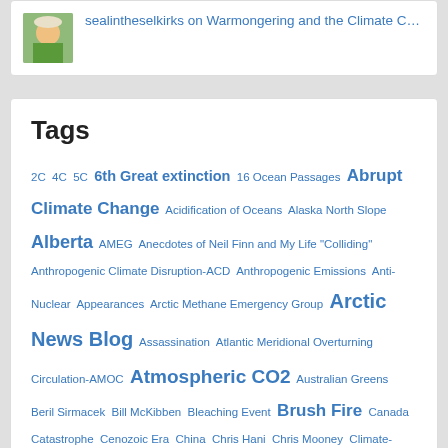sealintheselkirks on Warmongering and the Climate C…
Tags
2C 4C 5C 6th Great extinction 16 Ocean Passages Abrupt Climate Change Acidification of Oceans Alaska North Slope Alberta AMEG Anecdotes of Neil Finn and My Life "Colliding" Anthropogenic Climate Disruption-ACD Anthropogenic Emissions Anti-Nuclear Appearances Arctic Methane Emergency Group Arctic News Blog Assassination Atlantic Meridional Overturning Circulation-AMOC Atmospheric CO2 Australian Greens Beril Sirmacek Bill McKibben Bleaching Event Brush Fire Canada Catastrophe Cenozoic Era China Chris Hani Chris Mooney Climate-Exodus Climate Change Research Centre Climate Wars CO2 Warming Collapse Coral Reefs Coral CounterPunch